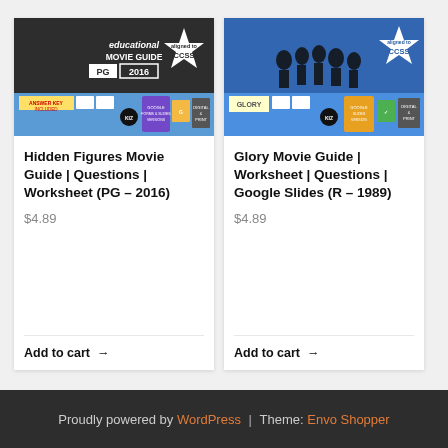[Figure (screenshot): Hidden Figures Movie Guide product image with educational movie guide branding, PG 2016, CCSS aligned, answer key included, Google Forms & Slides versions, digital & print]
Hidden Figures Movie Guide | Questions | Worksheet (PG – 2016)
$4.89
Add to cart →
[Figure (screenshot): Glory Movie Guide product image with blue background showing soldier silhouettes, CCSS aligned, Google Slides version, digital & print]
Glory Movie Guide | Worksheet | Questions | Google Slides (R – 1989)
$4.89
Add to cart →
Proudly powered by WordPress | Theme: Envo Shopper